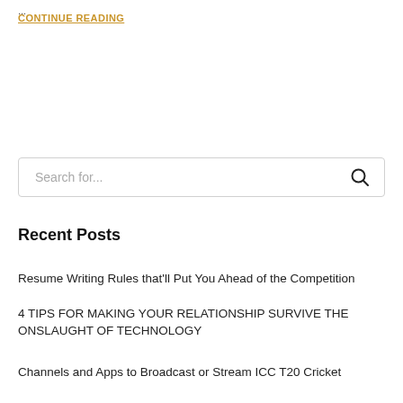...
CONTINUE READING
[Figure (other): Search input box with magnifying glass icon and placeholder text 'Search for...']
Recent Posts
Resume Writing Rules that'll Put You Ahead of the Competition
4 TIPS FOR MAKING YOUR RELATIONSHIP SURVIVE THE ONSLAUGHT OF TECHNOLOGY
Channels and Apps to Broadcast or Stream ICC T20 Cricket